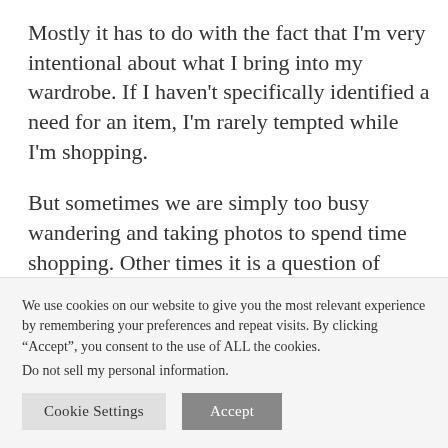Mostly it has to do with the fact that I'm very intentional about what I bring into my wardrobe. If I haven't specifically identified a need for an item, I'm rarely tempted while I'm shopping.
But sometimes we are simply too busy wandering and taking photos to spend time shopping. Other times it is a question of budget. And quite regularly, it comes from the fact that I
We use cookies on our website to give you the most relevant experience by remembering your preferences and repeat visits. By clicking “Accept”, you consent to the use of ALL the cookies.
Do not sell my personal information.